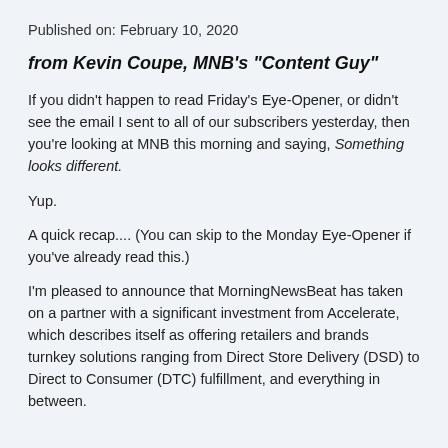Published on: February 10, 2020
from Kevin Coupe, MNB's "Content Guy"
If you didn't happen to read Friday's Eye-Opener, or didn't see the email I sent to all of our subscribers yesterday, then you're looking at MNB this morning and saying, Something looks different.
Yup.
A quick recap.... (You can skip to the Monday Eye-Opener if you've already read this.)
I'm pleased to announce that MorningNewsBeat has taken on a partner with a significant investment from Accelerate, which describes itself as offering retailers and brands turnkey solutions ranging from Direct Store Delivery (DSD) to Direct to Consumer (DTC) fulfillment, and everything in between.